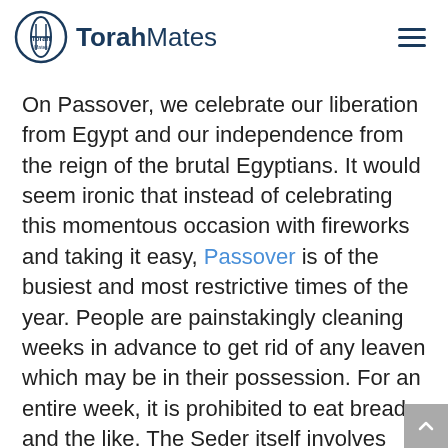TorahMates
On Passover, we celebrate our liberation from Egypt and our independence from the reign of the brutal Egyptians. It would seem ironic that instead of celebrating this momentous occasion with fireworks and taking it easy, Passover is of the busiest and most restrictive times of the year. People are painstakingly cleaning weeks in advance to get rid of any leaven which may be in their possession. For an entire week, it is prohibited to eat bread and the like. The Seder itself involves numerous